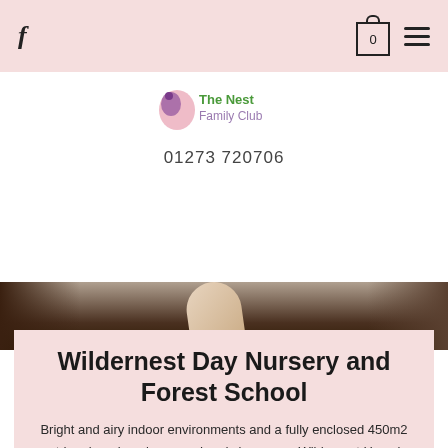f  [cart: 0]  [menu]
[Figure (logo): The Nest Family Club logo with a bird/droplet icon in pink and purple, and green text reading 'The Nest Family Club']
01273 720706
[Figure (photo): Outdoor photo with muted brown/dark background showing a figure, partial view]
Wildernest Day Nursery and Forest School
Bright and airy indoor environments and a fully enclosed 450m2 outdoor learning playground and classroom. Wildernest Hove is located just 5 minutes from Hove station on foot.